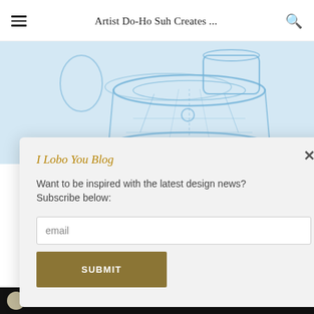Artist Do-Ho Suh Creates ...
[Figure (photo): Translucent blue wireframe sculpture of a toilet or similar object on a white background, partially visible from top]
I Lobo You Blog
Want to be inspired with the latest design news? Subscribe below:
email
SUBMIT
IMPACTFUL MINDS